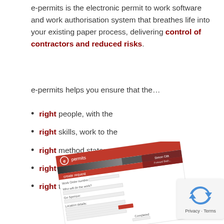e-permits is the electronic permit to work software and work authorisation system that breathes life into your existing paper process, delivering control of contractors and reduced risks.
e-permits helps you ensure that the…
right people, with the
right skills, work to the
right method statement, in the
right place, at the
right time
[Figure (screenshot): Screenshot of the e-permits software interface showing a 'create request' form with fields for work order details, user Simon Clift, and a form layout with red branding.]